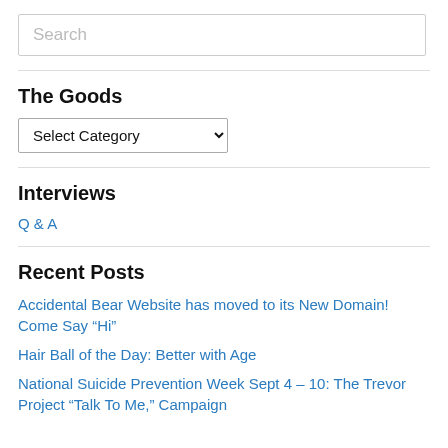Search
The Goods
Select Category
Interviews
Q & A
Recent Posts
Accidental Bear Website has moved to its New Domain! Come Say “Hi”
Hair Ball of the Day: Better with Age
National Suicide Prevention Week Sept 4 – 10: The Trevor Project “Talk To Me,” Campaign